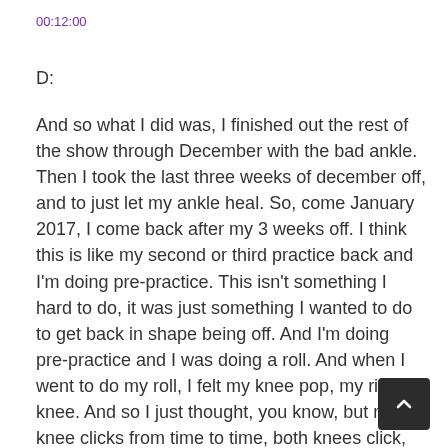00:12:00
D:
And so what I did was, I finished out the rest of the show through December with the bad ankle. Then I took the last three weeks of december off, and to just let my ankle heal. So, come January 2017, I come back after my 3 weeks off. I think this is like my second or third practice back and I'm doing pre-practice. This isn't something I hard to do, it was just something I wanted to do to get back in shape being off. And I'm doing pre-practice and I was doing a roll. And when I went to do my roll, I felt my knee pop, my right knee. And so I just thought, you know, but my knee clicks from time to time, both knees click, so it's just nothing. And I tried to get up. When I tried to stand up, I couldn't put